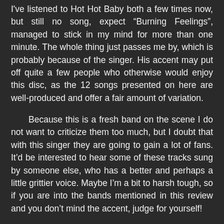I've listened to Hot Hot Baby both a few times now, but still no song, expect “Burning Feelings”, managed to stick in my mind for more than one minute. The whole thing just passes me by, which is probably because of the singer. His accent may put off quite a few people who otherwise would enjoy this disc, as the 12 songs presented on here are well-produced and offer a fair amount of variation.

Because this is a fresh band on the scene I do not want to criticize them too much, but I doubt that with this singer they are going to gain a lot of fans. It’d be interested to hear some of these tracks sung by someone else, who has a better and perhaps a little grittier voice. Maybe I’m a bit to harsh tough, so if you are into the bands mentioned in this review and you don’t mind the accent, judge for yourself!